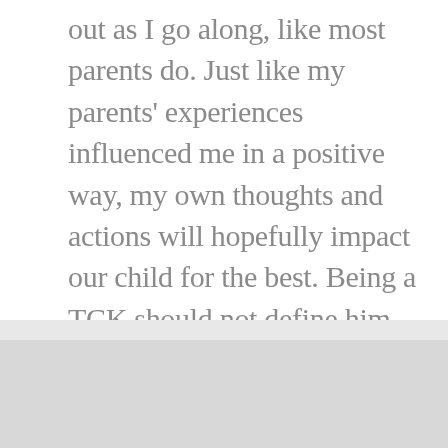out as I go along, like most parents do. Just like my parents' experiences influenced me in a positive way, my own thoughts and actions will hopefully impact our child for the best. Being a TCK should not define him or her, and is not a necessity to learn some of the lessons I have learnt whilst being one. I look forward to meeting this bundle of joy with such excitement and until then, wish me luck!